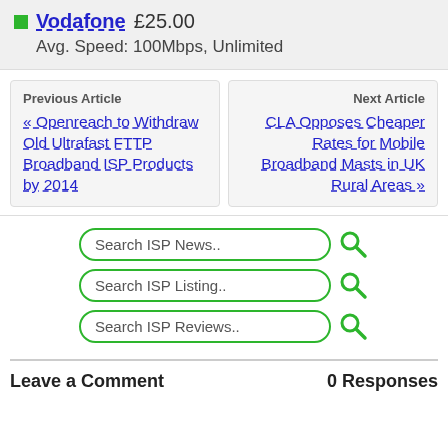Vodafone £25.00
Avg. Speed: 100Mbps, Unlimited
Previous Article
« Openreach to Withdraw Old Ultrafast FTTP Broadband ISP Products by 2014
Next Article
CLA Opposes Cheaper Rates for Mobile Broadband Masts in UK Rural Areas »
Search ISP News..
Search ISP Listing..
Search ISP Reviews..
Leave a Comment
0 Responses